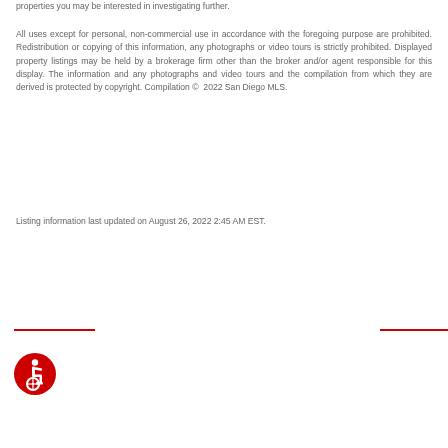properties you may be interested in investigating further.
All uses except for personal, non-commercial use in accordance with the foregoing purpose are prohibited. Redistribution or copying of this information, any photographs or video tours is strictly prohibited. Displayed property listings may be held by a brokerage firm other than the broker and/or agent responsible for this display. The information and any photographs and video tours and the compilation from which they are derived is protected by copyright. Compilation © 2022 San Diego MLS.
Listing information last updated on August 26, 2022 2:45 AM EST.
[Figure (illustration): Wheelchair accessibility icon — red circle with white wheelchair user symbol]